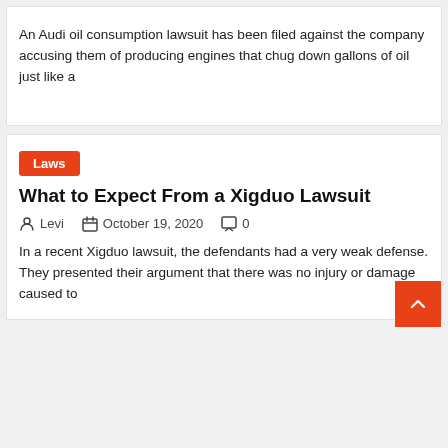An Audi oil consumption lawsuit has been filed against the company accusing them of producing engines that chug down gallons of oil just like a
Laws
What to Expect From a Xigduo Lawsuit
Levi   October 19, 2020   0
In a recent Xigduo lawsuit, the defendants had a very weak defense. They presented their argument that there was no injury or damage caused to